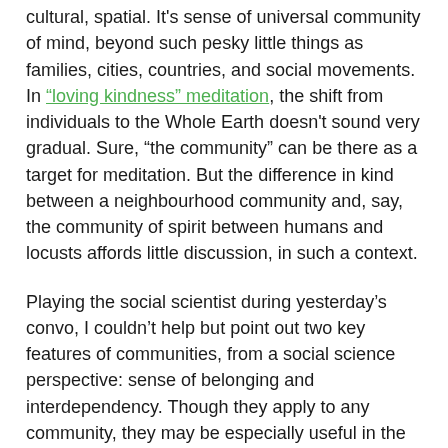cultural, spatial. It's sense of universal community of mind, beyond such pesky little things as families, cities, countries, and social movements. In "loving kindness" meditation, the shift from individuals to the Whole Earth doesn't sound very gradual. Sure, "the community" can be there as a target for meditation. But the difference in kind between a neighbourhood community and, say, the community of spirit between humans and locusts affords little discussion, in such a context.
Playing the social scientist during yesterday's convo, I couldn't help but point out two key features of communities, from a social science perspective: sense of belonging and interdependency. Though they apply to any community, they may be especially useful in the yoga context. I don't know enough about yoga to be sure about this, but comments made after I mentioned these two dimensions did sound like they resonated with my simple description.